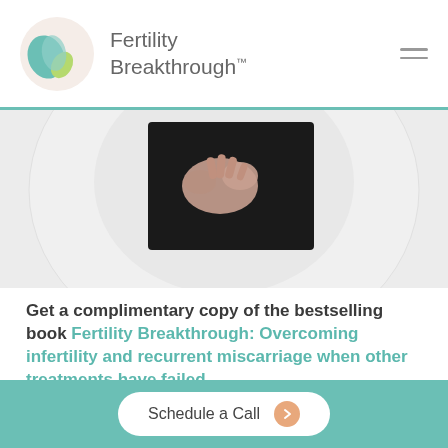Fertility Breakthrough™
[Figure (photo): Circular cropped photo showing hands clasped together against a dark background, overlaid on a large light circle on a grey background]
Get a complimentary copy of the bestselling book Fertility Breakthrough: Overcoming infertility and recurrent miscarriage when other treatments have failed.
A compilation of over two decades of clinical experience in helping couples become parents. This highly acclaimed book is a must-have in your arsenal of fertility resources.
Schedule a Call